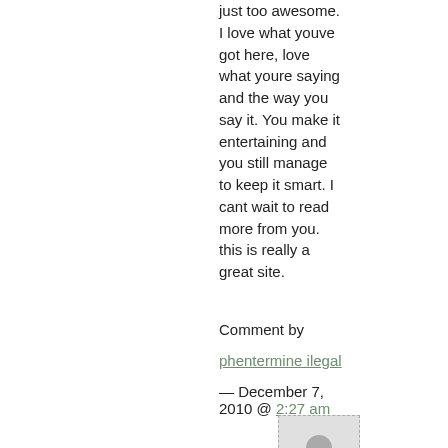just too awesome. I love what youve got here, love what youre saying and the way you say it. You make it entertaining and you still manage to keep it smart. I cant wait to read more from you. this is really a great site.
Comment by
phentermine ilegal
— December 7, 2010 @ 2:27 am
[Figure (illustration): Avatar placeholder image showing a generic person silhouette in a light gray box with dashed border]